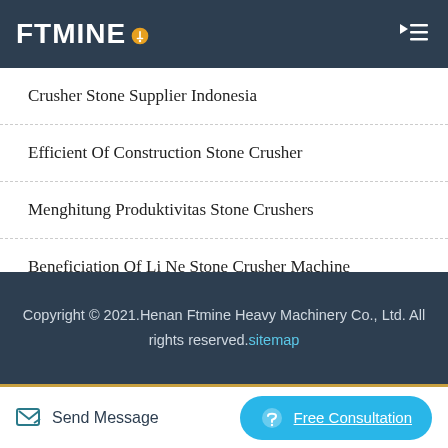FTMINE
Crusher Stone Supplier Indonesia
Efficient Of Construction Stone Crusher
Menghitung Produktivitas Stone Crushers
Beneficiation Of Li Ne Stone Crusher Machine
Por Le Crusher Plant Stone
Copyright © 2021.Henan Ftmine Heavy Machinery Co., Ltd. All rights reserved.sitemap
Send Message
Free Consultation